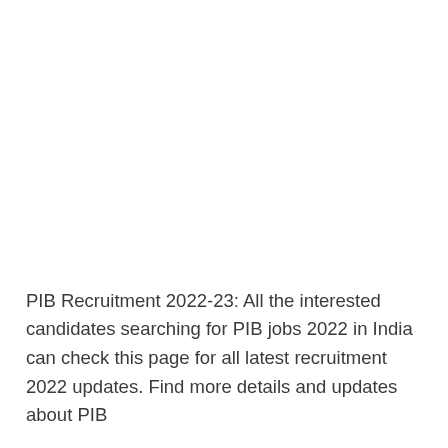PIB Recruitment 2022-23: All the interested candidates searching for PIB jobs 2022 in India can check this page for all latest recruitment 2022 updates. Find more details and updates about PIB